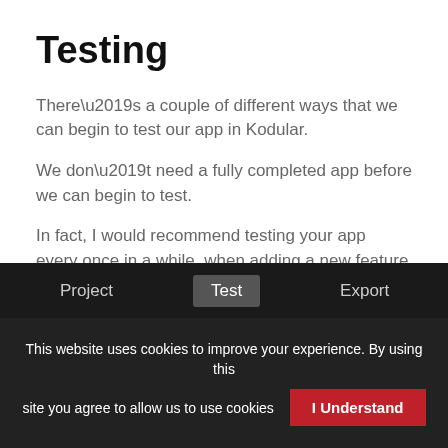Testing
There’s a couple of different ways that we can begin to test our app in Kodular.
We don’t need a fully completed app before we can begin to test.
In fact, I would recommend testing your app every once in a while, when adding a new feature for example.
[Figure (screenshot): Dark navigation bar showing menu items: Project, Test (highlighted/active), Export, Help]
This website uses cookies to improve your experience. By using this site you agree to allow us to use cookies  I Understand